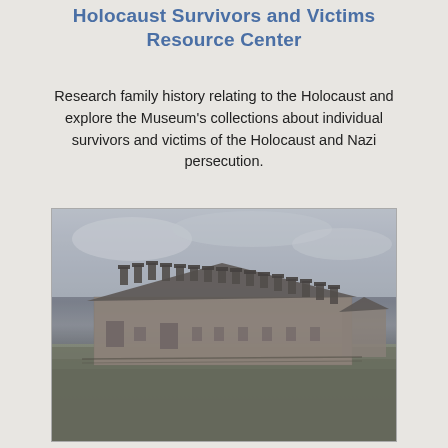Holocaust Survivors and Victims Resource Center
Research family history relating to the Holocaust and explore the Museum's collections about individual survivors and victims of the Holocaust and Nazi persecution.
[Figure (photo): Black and white photograph of a long low brick building with multiple chimneys along the roofline, surrounded by an open grassy field. The building appears to be a camp barracks structure. The sky is overcast. Another smaller building is visible in the background to the right.]